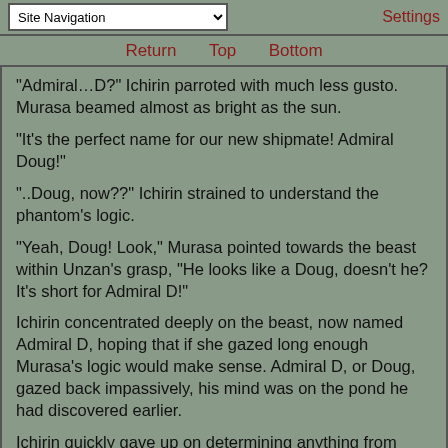Site Navigation | Settings
Return   Top   Bottom
“Admiral…D?” Ichirin parroted with much less gusto. Murasa beamed almost as bright as the sun.
“It’s the perfect name for our new shipmate! Admiral Doug!”
“..Doug, now??” Ichirin strained to understand the phantom’s logic.
“Yeah, Doug! Look,” Murasa pointed towards the beast within Unzan’s grasp, “He looks like a Doug, doesn’t he? It’s short for Admiral D!”
Ichirin concentrated deeply on the beast, now named Admiral D, hoping that if she gazed long enough Murasa’s logic would make sense. Admiral D, or Doug, gazed back impassively, his mind was on the pond he had discovered earlier.
Ichirin quickly gave up on determining anything from